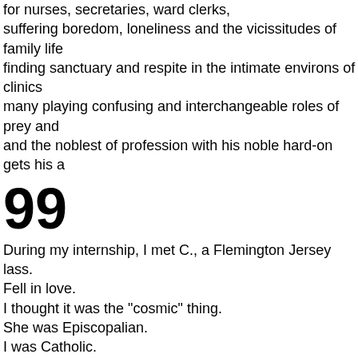for nurses, secretaries, ward clerks, suffering boredom, loneliness and the vicissitudes of family life finding sanctuary and respite in the intimate environs of clinics many playing confusing and interchangeable roles of prey and and the noblest of profession with his noble hard-on gets his a
99
During my internship, I met C., a Flemington Jersey lass.
Fell in love.
I thought it was the "cosmic" thing.
She was Episcopalian.
I was Catholic.
We wanted to get married in a park.
The minister said, No, it has to be in church, the House of God
I dug into my catechismal bag and countered:
God is everywhere!
Unconvinced by my repartee, I threatened
to seek another pastor.
He agreed, but with a compromise.
Instead of a park, my in-laws' backyard.
Under an oak tree, with a yellow ribbon tied around it.
The minister, probably upset he couldn't get me inside God's h delivered an ill-chosen ill-omened homily
on divorce and the fragility of relationships.
The sermon upset me none.